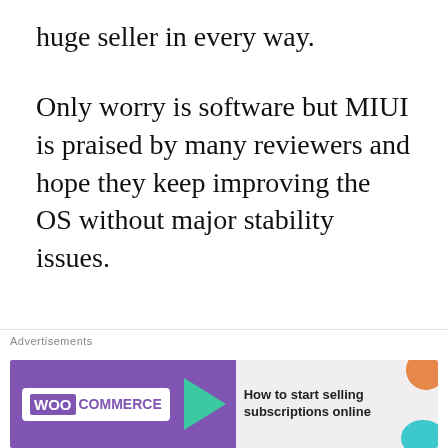huge seller in every way.
Only worry is software but MIUI is praised by many reviewers and hope they keep improving the OS without major stability issues.
★ Like
REPLY
Advertisements
AUT⊙MATTIC
Build a better web and a better world.
Advertisements
[Figure (other): WooCommerce advertisement banner: purple background with WooCommerce logo, teal arrow, and text 'How to start selling subscriptions online' on light background with orange and teal decorative shapes]